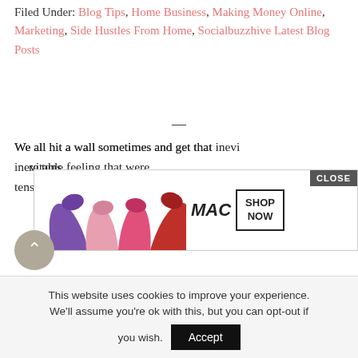Filed Under: Blog Tips, Home Business, Making Money Online, Marketing, Side Hustles From Home, Socialbuzzhive Latest Blog Posts
—
We all hit a wall sometimes and get that inevi[table feeling that we] are tens of millions of ideas out there it would
[Figure (screenshot): MAC cosmetics advertisement overlay showing lipstick products with SHOP NOW button and CLOSE button in top right corner]
This website uses cookies to improve your experience. We'll assume you're ok with this, but you can opt-out if you wish. Accept